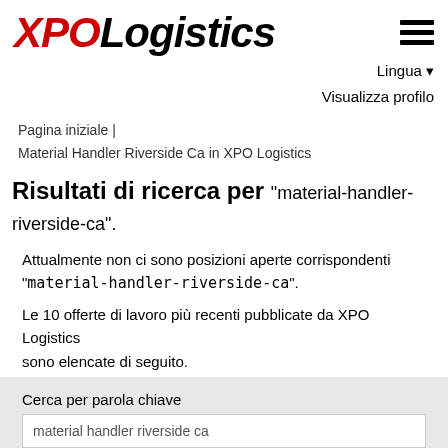[Figure (logo): XPO Logistics logo with XPO in red italic bold and Logistics in black italic bold]
Lingua ▾
Visualizza profilo
Pagina iniziale |
Material Handler Riverside Ca in XPO Logistics
Risultati di ricerca per "material-handler-riverside-ca".
Attualmente non ci sono posizioni aperte corrispondenti "material-handler-riverside-ca".
Le 10 offerte di lavoro più recenti pubblicate da XPO Logistics sono elencate di seguito.
Cerca per parola chiave
material handler riverside ca